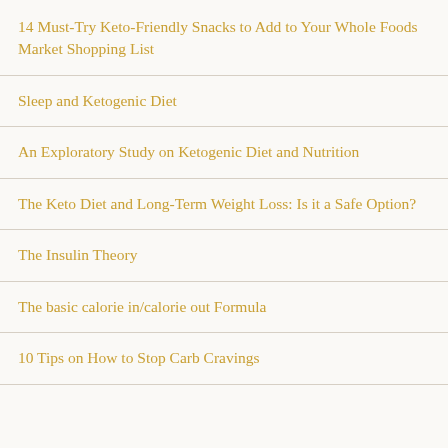14 Must-Try Keto-Friendly Snacks to Add to Your Whole Foods Market Shopping List
Sleep and Ketogenic Diet
An Exploratory Study on Ketogenic Diet and Nutrition
The Keto Diet and Long-Term Weight Loss: Is it a Safe Option?
The Insulin Theory
The basic calorie in/calorie out Formula
10 Tips on How to Stop Carb Cravings